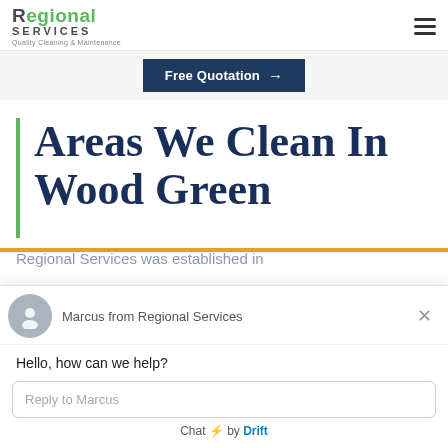[Figure (logo): Regional Services logo — 'Regional' in green bold, 'SERVICES' in dark spaced caps, tagline 'Quality Cleaning & Maintenance']
Free Quotation →
Areas We Clean In Wood Green
Regional Services was established in
[Figure (screenshot): Drift chat widget popup with avatar of Marcus from Regional Services, greeting 'Hello, how can we help?', reply input field, and 'Chat by Drift' footer]